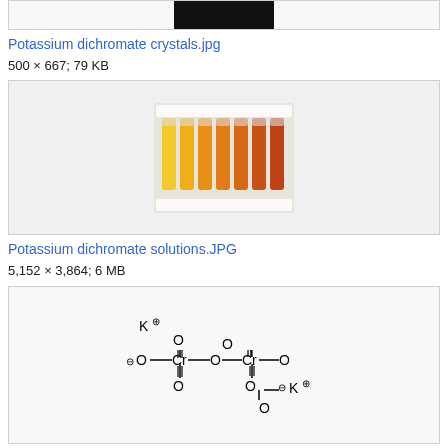[Figure (photo): Partial top image box showing a dark/black image cropped at top of page]
Potassium dichromate crystals.jpg
500 × 667; 79 KB
[Figure (photo): Photo of test tubes in a rack showing potassium dichromate solutions ranging from yellow to orange to red]
Potassium dichromate solutions.JPG
5,152 × 3,864; 6 MB
[Figure (schematic): Chemical structure diagram of potassium dichromate showing K+ ions and Cr-O bonds with charged oxygen atoms]